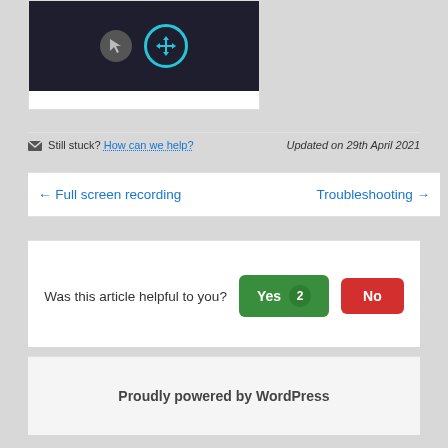[Figure (screenshot): Screenshot showing two icons on dark background: a cursor/arrow icon in a grey circle and a move/crosshair icon in a teal/cyan outlined circle]
✉ Still stuck? How can we help?    Updated on 29th April 2021
← Full screen recording    Troubleshooting →
Was this article helpful to you?  Yes 2  No
Proudly powered by WordPress